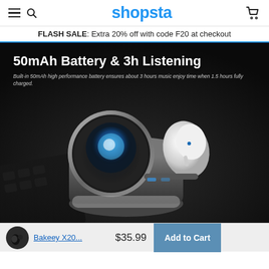shopsta
FLASH SALE: Extra 20% off with code F20 at checkout
[Figure (photo): Product photo of Bakeey X20 wireless earbud with charging case on dark background. Overlaid text reads: '50mAh Battery & 3h Listening' with subtitle 'Built-in 50mAh high performance battery ensures about 3 hours music enjoy time when 1.5 hours fully charged.']
Bakeey X20...  $35.99  Add to Cart